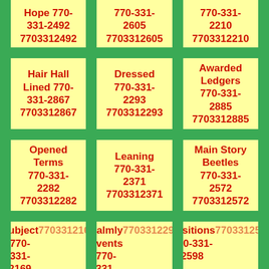Hope 770-331-2492 7703312492
770-331-2605 7703312605
770-331-2210 7703312210
Hair Hall Lined 770-331-2867 7703312867
Dressed 770-331-2293 7703312293
Awarded Ledgers 770-331-2885 7703312885
Opened Terms 770-331-2282 7703312282
Leaning 770-331-2371 7703312371
Main Story Beetles 770-331-2572 7703312572
Subject 770-331-2169 7703312169
Calmly Events 770-331-2294 7703312294
Positions 770-331-2598 7703312598